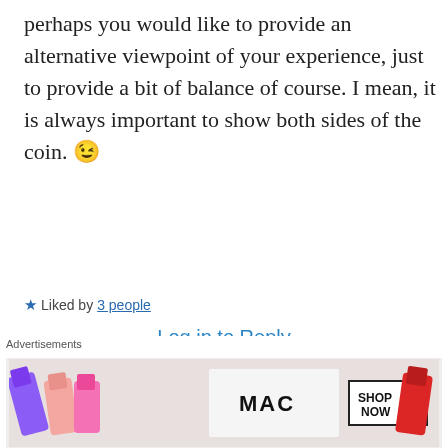perhaps you would like to provide an alternative viewpoint of your experience, just to provide a bit of balance of course. I mean, it is always important to show both sides of the coin. 😉
★ Liked by 3 people
Log in to Reply
Molls44
DEC 8, 2017 AT 3:25 PM
[Figure (illustration): Avatar image of a cartoon hippo/monster with a brain, in a circular frame with a cream background]
Advertisements
[Figure (photo): MAC cosmetics advertisement banner showing lipsticks with SHOP NOW button]